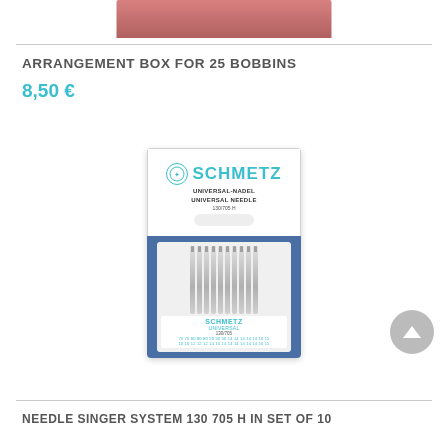[Figure (photo): Top portion of a product image, partially cropped at top of page]
ARRANGEMENT BOX FOR 25 BOBBINS
8,50 €
[Figure (photo): Schmetz Universal Needle package (130/705 H), showing a card with 10 sewing machine needles in various sizes (70/10 80/12 90/14 100/16) arranged on blue fabric background]
NEEDLE SINGER SYSTEM 130 705 H IN SET OF 10